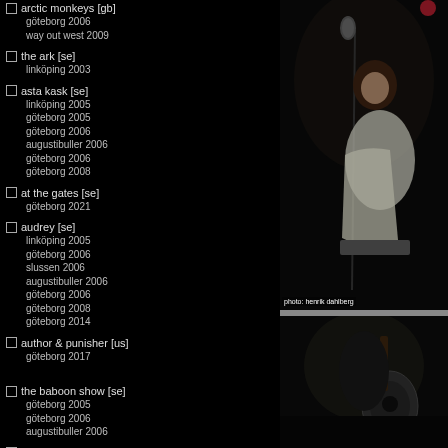arctic monkeys [gb] - göteborg 2006, way out west 2009
the ark [se] - linköping 2003
asta kask [se] - linköping 2005, göteborg 2005, göteborg 2006, augustibuller 2006, göteborg 2006, göteborg 2008
at the gates [se] - göteborg 2021
audrey [se] - linköping 2005, göteborg 2006, slussen 2006, augustibuller 2006, göteborg 2006, göteborg 2008, göteborg 2014
author & punisher [us] - göteborg 2017
the baboon show [se] - göteborg 2005, göteborg 2006, augustibuller 2006
ballboy [gb] - linköping 2003, linköping 2005
[Figure (photo): Concert photo of a female singer at a microphone, wearing a white dress, dark background. Photo credit: henrik dahlberg.]
[Figure (photo): Concert photo, dark stage with performer, partial view.]
photo: henrik dahlberg